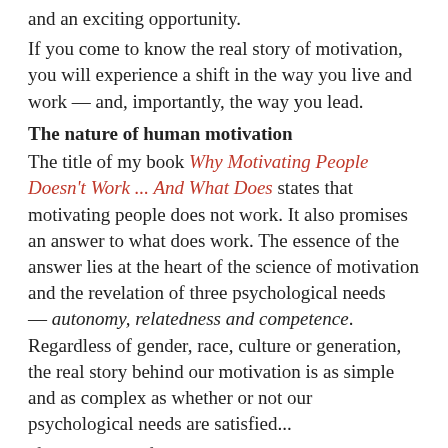and an exciting opportunity.
If you come to know the real story of motivation, you will experience a shift in the way you live and work — and, importantly, the way you lead.
The nature of human motivation
The title of my book Why Motivating People Doesn't Work ... And What Does states that motivating people does not work. It also promises an answer to what does work. The essence of the answer lies at the heart of the science of motivation and the revelation of three psychological needs — autonomy, relatedness and competence. Regardless of gender, race, culture or generation, the real story behind our motivation is as simple and as complex as whether or not our psychological needs are satisfied...
If you need confirmation that these three psychological needs are essential to our thriving and flourishing, you can delve into the plentiful